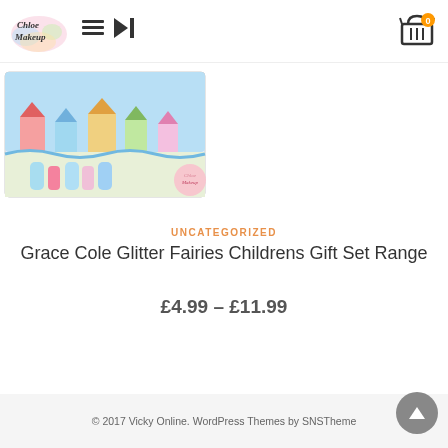[Figure (logo): Chloe Makeup colorful logo with watercolor splash]
[Figure (photo): Two product photos of Grace Cole Glitter Fairies children's gift sets — pink bottles and bath items on left, boxed set on right]
UNCATEGORIZED
Grace Cole Glitter Fairies Childrens Gift Set Range
£4.99 – £11.99
© 2017 Vicky Online. WordPress Themes by SNSTheme